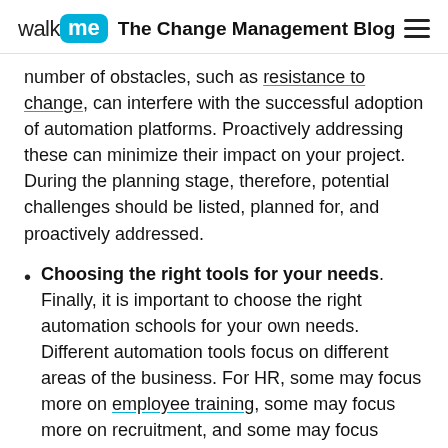walk me  The Change Management Blog
number of obstacles, such as resistance to change, can interfere with the successful adoption of automation platforms. Proactively addressing these can minimize their impact on your project. During the planning stage, therefore, potential challenges should be listed, planned for, and proactively addressed.
Choosing the right tools for your needs. Finally, it is important to choose the right automation schools for your own needs. Different automation tools focus on different areas of the business. For HR, some may focus more on employee training, some may focus more on recruitment, and some may focus more on